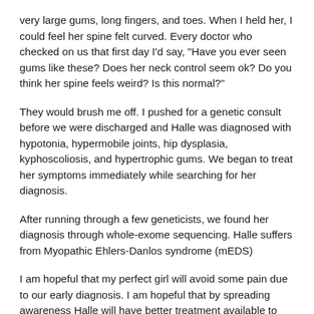very large gums, long fingers, and toes. When I held her, I could feel her spine felt curved. Every doctor who checked on us that first day I'd say, "Have you ever seen gums like these? Does her neck control seem ok? Do you think her spine feels weird? Is this normal?"
They would brush me off. I pushed for a genetic consult before we were discharged and Halle was diagnosed with hypotonia, hypermobile joints, hip dysplasia, kyphoscoliosis, and hypertrophic gums. We began to treat her symptoms immediately while searching for her diagnosis.
After running through a few geneticists, we found her diagnosis through whole-exome sequencing. Halle suffers from Myopathic Ehlers-Danlos syndrome (mEDS)
I am hopeful that my perfect girl will avoid some pain due to our early diagnosis. I am hopeful that by spreading awareness Halle will have better treatment available to her as she reaches adulthood. I am also hopeful that if you are reading this, you